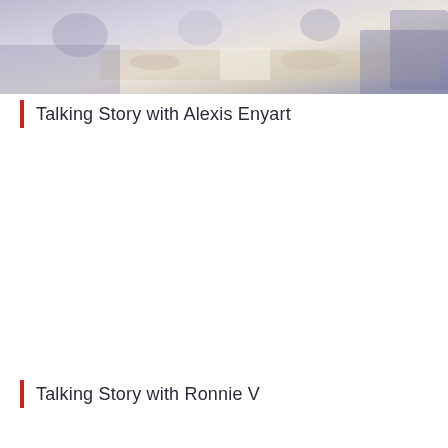[Figure (photo): Faded/washed-out photo of people around a table, appearing to be in a meeting or discussion setting. Colors are muted purples, beiges, and blues.]
Talking Story with Alexis Enyart
Talking Story with Ronnie V